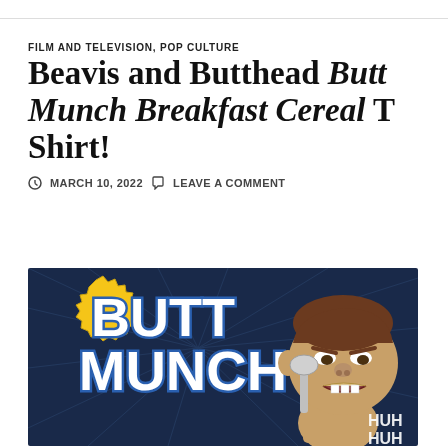FILM AND TELEVISION, POP CULTURE
Beavis and Butthead Butt Munch Breakfast Cereal T Shirt!
MARCH 10, 2022   LEAVE A COMMENT
[Figure (illustration): Cartoon illustration of Butthead from Beavis and Butthead holding a spoon, with large blue and white text reading BUTT MUNCH, a yellow starburst with B&B logo, dark blue background, and text HUH HUH at the bottom right.]